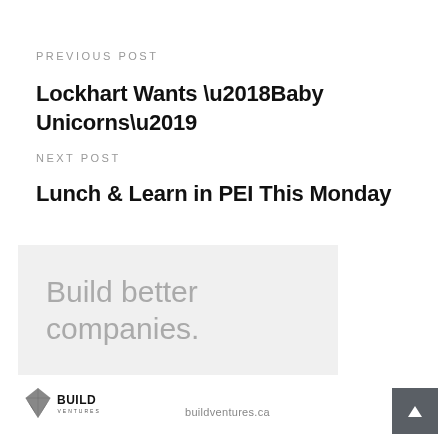PREVIOUS POST
Lockhart Wants ‘Baby Unicorns’
NEXT POST
Lunch & Learn in PEI This Monday
[Figure (infographic): Advertisement box with light gray background reading 'Build better companies.' in large light gray sans-serif text]
[Figure (logo): Build Ventures logo with geometric diamond shape and text BUILD VENTURES]
buildventures.ca